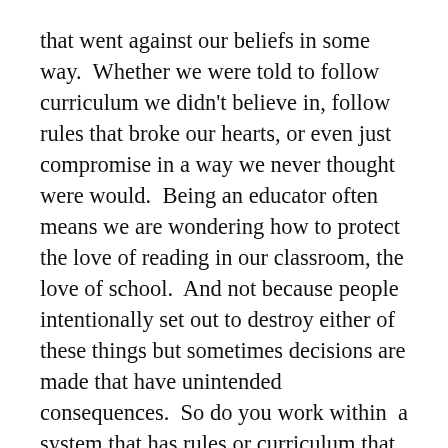that went against our beliefs in some way. Whether we were told to follow curriculum we didn't believe in, follow rules that broke our hearts, or even just compromise in a way we never thought were would. Being an educator often means we are wondering how to protect the love of reading in our classroom, the love of school. And not because people intentionally set out to destroy either of these things but sometimes decisions are made that have unintended consequences. So do you work within a system that has rules or curriculum that you want to change or break? How do you create change when it's just you fighting?
You know your research. One of the quickest ways to keep a teacher quiet is to say something is research-based. So do you know the